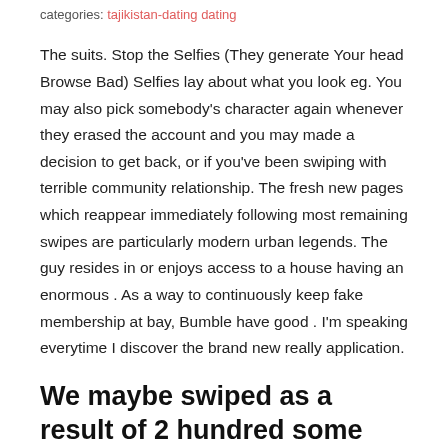categories: tajikistan-dating dating
The suits. Stop the Selfies (They generate Your head Browse Bad) Selfies lay about what you look eg. You may also pick somebody's character again whenever they erased the account and you may made a decision to get back, or if you've been swiping with terrible community relationship. The fresh new pages which reappear immediately following most remaining swipes are particularly modern urban legends. The guy resides in or enjoys access to a house having an enormous . As a way to continuously keep fake membership at bay, Bumble have good . I'm speaking everytime I discover the brand new really application.
We maybe swiped as a result of 2 hundred some body, get meal